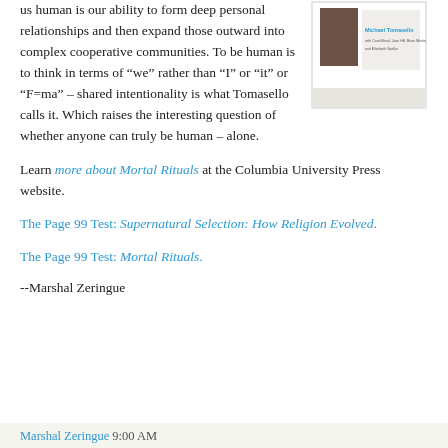us human is our ability to form deep personal relationships and then expand those outward into complex cooperative communities. To be human is to think in terms of “we” rather than “I” or “it” or “F=ma” – shared intentionality is what Tomasello calls it. Which raises the interesting question of whether anyone can truly be human – alone.
[Figure (illustration): Book cover image showing a book by Michael Tomasello with co-authors, featuring a dark brown square on a light background.]
Learn more about Mortal Rituals at the Columbia University Press website.
The Page 99 Test: Supernatural Selection: How Religion Evolved.
The Page 99 Test: Mortal Rituals.
--Marshal Zeringue
Marshal Zeringue 9:00 AM